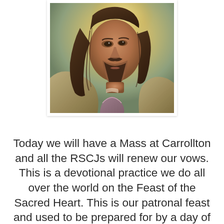[Figure (illustration): A painted portrait of Jesus Christ, shown from the shoulders up in three-quarter profile facing left, with long dark hair, a beard, wearing a light olive/tan robe with a reddish-purple undergarment, set against a warm golden halo/glow background. The image has a white border/frame with a subtle drop shadow.]
Today we will have a Mass at Carrollton and all the RSCJs will renew our vows. This is a devotional practice we do all over the world on the Feast of the Sacred Heart. This is our patronal feast and used to be prepared for by a day of fast on the eve of the